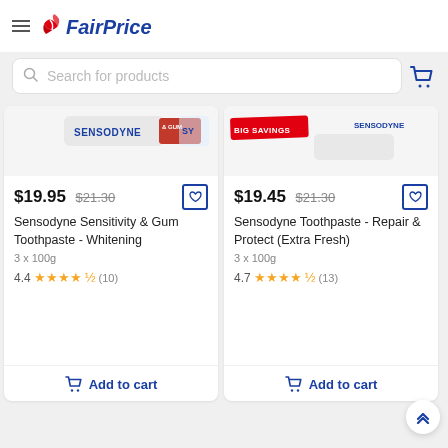FairPrice
Search for products
[Figure (screenshot): Sensodyne Sensitivity & Gum product image with SENSODYNE logo]
$19.95 $21.30
Sensodyne Sensitivity & Gum Toothpaste - Whitening
3 x 100g
4.4 ★★★★½ (10)
Add to cart
[Figure (screenshot): Sensodyne Repair & Protect product image with BIG SAVINGS badge]
$19.45 $21.30
Sensodyne Toothpaste - Repair & Protect (Extra Fresh)
3 x 100g
4.7 ★★★★½ (13)
Add to cart